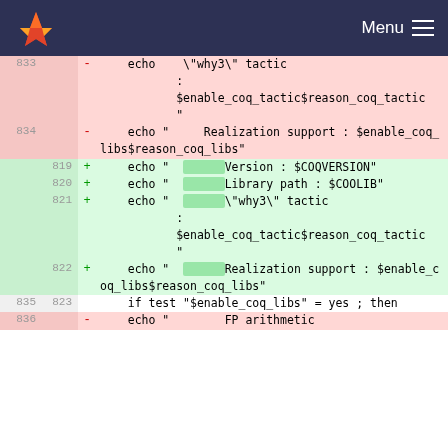GitLab Menu
[Figure (screenshot): Git diff view showing shell script changes. Deleted lines (pink) 833-834 and added lines (green) 819-822, with context line 835/823 and deleted line 836.]
833  -    echo    \"why3\" tactic
               :
               $enable_coq_tactic$reason_coq_tactic
               "
834  -    echo "     Realization support : $enable_coq_libs$reason_coq_libs"
819  +    echo "     Version : $COQVERSION"
820  +    echo "     Library path : $COQLIB"
821  +    echo "     \"why3\" tactic : $enable_coq_tactic$reason_coq_tactic"
822  +    echo "     Realization support : $enable_coq_libs$reason_coq_libs"
835 823       if test "$enable_coq_libs" = yes ; then
836  -    echo "        FP arithmetic